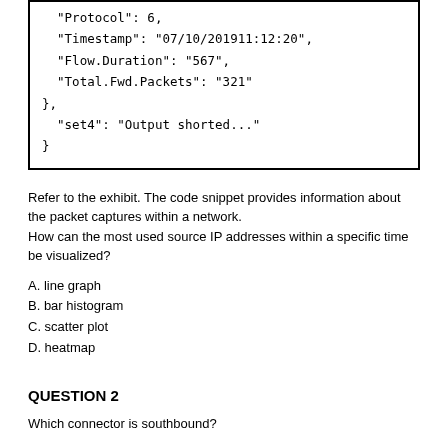[Figure (screenshot): Code box showing JSON-like packet capture data with fields: Protocol: 6, Timestamp: 07/10/201911:12:20, Flow.Duration: 567, Total.Fwd.Packets: 321, followed by }, set4: Output shorted..., }]
Refer to the exhibit. The code snippet provides information about the packet captures within a network.
How can the most used source IP addresses within a specific time be visualized?
A. line graph
B. bar histogram
C. scatter plot
D. heatmap
QUESTION 2
Which connector is southbound?